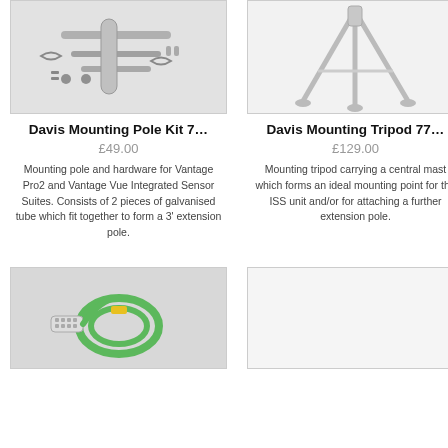[Figure (photo): Davis Mounting Pole Kit parts laid out on grey background]
Davis Mounting Pole Kit 7…
£49.00
Mounting pole and hardware for Vantage Pro2 and Vantage Vue Integrated Sensor Suites. Consists of 2 pieces of galvanised tube which fit together to form a 3' extension pole.
[Figure (photo): Davis Mounting Tripod on white background]
Davis Mounting Tripod 77…
£129.00
Mounting tripod carrying a central mast which forms an ideal mounting point for the ISS unit and/or for attaching a further extension pole.
[Figure (photo): Green cable with connector on grey background]
[Figure (photo): Blank/empty product image placeholder]